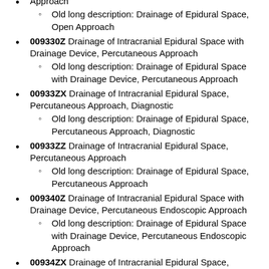Approach
  Old long description: Drainage of Epidural Space, Open Approach
009330Z Drainage of Intracranial Epidural Space with Drainage Device, Percutaneous Approach
  Old long description: Drainage of Epidural Space with Drainage Device, Percutaneous Approach
00933ZX Drainage of Intracranial Epidural Space, Percutaneous Approach, Diagnostic
  Old long description: Drainage of Epidural Space, Percutaneous Approach, Diagnostic
00933ZZ Drainage of Intracranial Epidural Space, Percutaneous Approach
  Old long description: Drainage of Epidural Space, Percutaneous Approach
009340Z Drainage of Intracranial Epidural Space with Drainage Device, Percutaneous Endoscopic Approach
  Old long description: Drainage of Epidural Space with Drainage Device, Percutaneous Endoscopic Approach
00934ZX Drainage of Intracranial Epidural Space, Percutaneous Endoscopic Approach, Diagnostic
  Old long description: Drainage of Epidural Space, Percutaneous Endoscopic Approach, Diagnostic